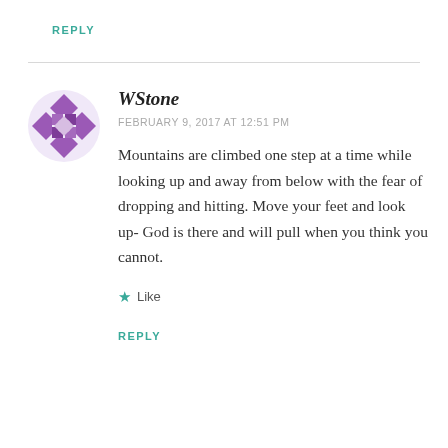REPLY
[Figure (illustration): Purple geometric Identicon/avatar icon for user WStone, featuring diamond and square shapes in a quilt-like pattern]
WStone
FEBRUARY 9, 2017 AT 12:51 PM
Mountains are climbed one step at a time while looking up and away from below with the fear of dropping and hitting. Move your feet and look up- God is there and will pull when you think you cannot.
★ Like
REPLY